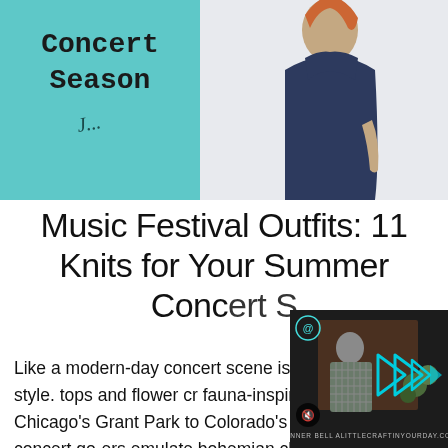[Figure (photo): Blog post hero image showing a woman in a navy dress and a teal Concert Season graphic overlay]
Music Festival Outfits: 11 Knits for Your Summer Concert Season
[Figure (screenshot): Video player overlay showing Tanner Bell from alittlecraftinyourday.com with play arrows and mute button]
Like a modern-day concert scene is full urban hippie style. tops and flower cr fauna-inspired fashion. From Chicago's Grant Park to Colorado's Red Rocks, concert go-ers emulate bohemian chic in their summer outfits. Full of contradictions, these urban outfits are somehow both whimsical and edgy. Complete